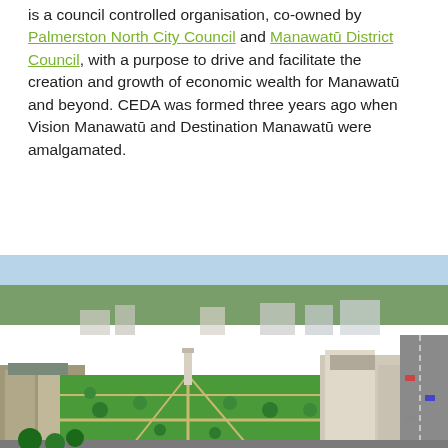is a council controlled organisation, co-owned by Palmerston North City Council and Manawatū District Council, with a purpose to drive and facilitate the creation and growth of economic wealth for Manawatū and beyond. CEDA was formed three years ago when Vision Manawatū and Destination Manawatū were amalgamated.
[Figure (photo): Aerial photograph of Palmerston North city centre showing a large green park with a tall monument/column, surrounded by urban buildings, roads, and trees under a blue sky.]